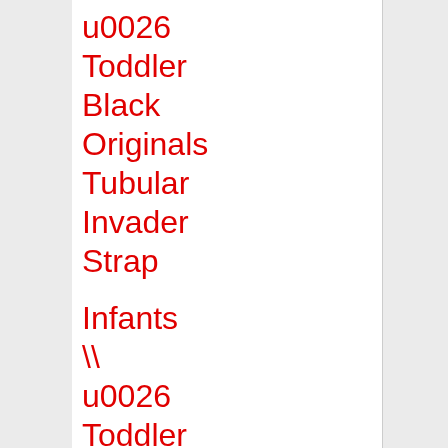u0026
Toddler
Black
Originals
Tubular
Invader
Strap
Infants
\\
u0026
Toddler
Beige
Tubular